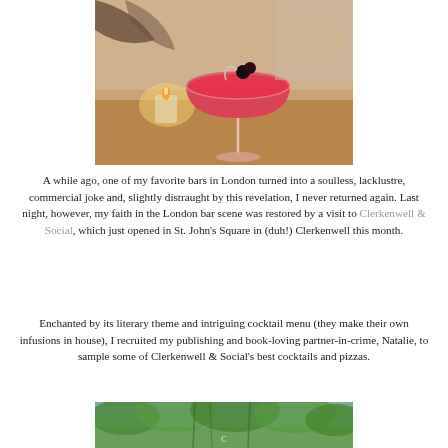[Figure (photo): A pink/red cocktail in a coupe glass garnished with berries, with a candle in the background on a wooden table.]
A while ago, one of my favorite bars in London turned into a soulless, lacklustre, commercial joke and, slightly distraught by this revelation, I never returned again. Last night, however, my faith in the London bar scene was restored by a visit to Clerkenwell & Social, which just opened in St. John's Square in (duh!) Clerkenwell this month.
Enchanted by its literary theme and intriguing cocktail menu (they make their own infusions in house), I recruited my publishing and book-loving partner-in-crime, Natalie, to sample some of Clerkenwell & Social's best cocktails and pizzas.
[Figure (photo): Outdoor garden or patio area with green trees and a circular orange/red logo sign visible.]